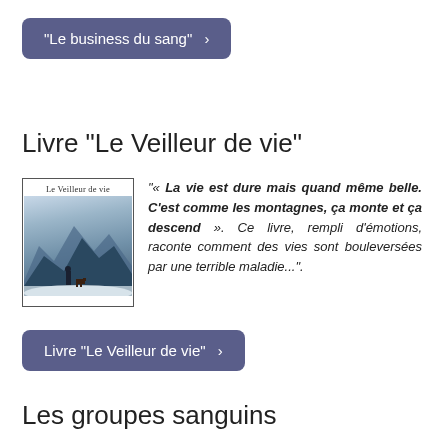"Le business du sang" >
Livre "Le Veilleur de vie"
[Figure (illustration): Book cover of 'Le Veilleur de vie' showing a person and a dog in a snowy mountain landscape]
"« La vie est dure mais quand même belle. C'est comme les montagnes, ça monte et ça descend ». Ce livre, rempli d'émotions, raconte comment des vies sont bouleversées par une terrible maladie...".
Livre "Le Veilleur de vie" >
Les groupes sanguins